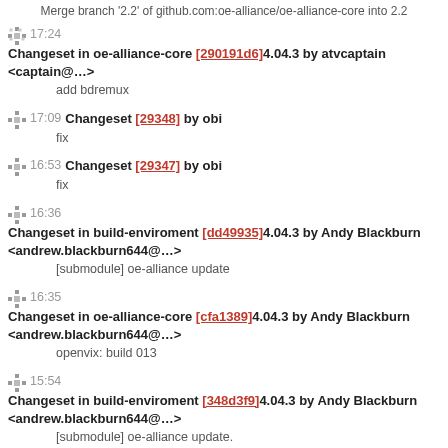Merge branch '2.2' of github.com:oe-alliance/oe-alliance-core into 2.2
17:24 Changeset in oe-alliance-core [290191d6]4.04.3 by atvcaptain <captain@…>
add bdremux
17:09 Changeset [29348] by obi
fix
16:53 Changeset [29347] by obi
fix
16:36 Changeset in build-enviroment [dd49935]4.04.3 by Andy Blackburn <andrew.blackburn644@…>
[submodule] oe-alliance update
16:35 Changeset in oe-alliance-core [cfa1389]4.04.3 by Andy Blackburn <andrew.blackburn644@…>
openvix: build 013
15:54 Changeset in build-enviroment [348d3f9]4.04.3 by Andy Blackburn <andrew.blackburn644@…>
[submodule] oe-alliance update.
15:34 Changeset in oe-alliance-core [a35e46f]4.04.3 by Andy Blackburn <andrew.blackburn644@…>
[openvix] tweak DEPLOY_DIR.
15:24 Changeset [29346] by aafsvn
[titan] autoupdate po files